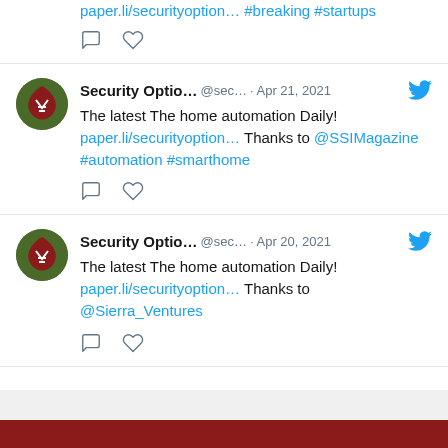paper.li/securityoption… #breaking #startups
[Figure (screenshot): Tweet from Security Optio... @sec... Apr 21, 2021. The latest The home automation Daily! paper.li/securityoption… Thanks to @SSIMagazine #automation #smarthome]
[Figure (screenshot): Tweet from Security Optio... @sec... Apr 20, 2021. The latest The home automation Daily! paper.li/securityoption… Thanks to @Sierra_Ventures]